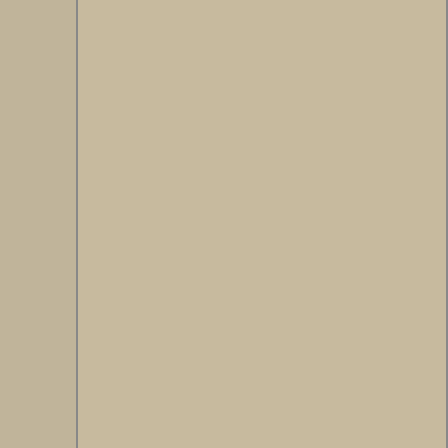Anyway, FTP details sent. Check if it works.
holy shit...I haven't done this since Tom Henrik and The Fifth Horseman and Kosta were here. I use total commander or something like that right?...I already uploaded them to Tom years ago and there in a .zip.....would they still be on the server?
edit: I don't have any new PM's lol
Last edited by stanleyopar2000; 05-11-2012 at 08:44 PM.
06-11-2012, 08:38 AM
#109
marko river
10 GOSUB Abandonia
20 GOTO 10
There was no option to send you PM, just email and I'm not sure what was the mail